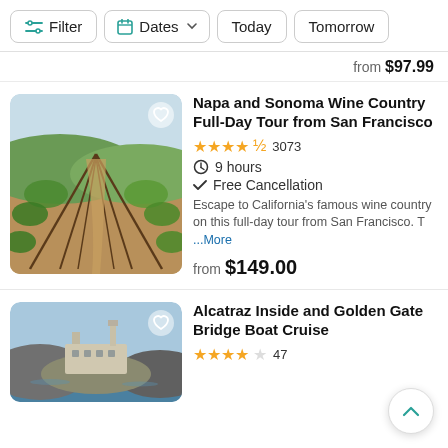Filter   Dates   Today   Tomorrow
from $97.99
Napa and Sonoma Wine Country Full-Day Tour from San Francisco
★★★★½  3073
9 hours
Free Cancellation
Escape to California's famous wine country on this full-day tour from San Francisco. T ...More
from $149.00
Alcatraz Inside and Golden Gate Bridge Boat Cruise
★★★★☆  47